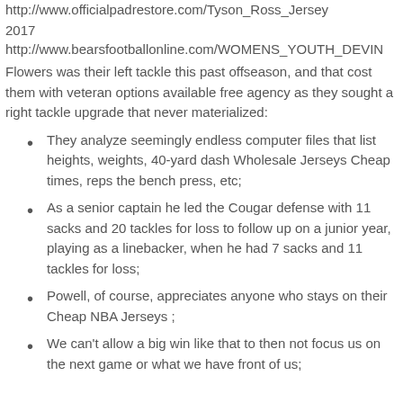http://www.officialpadrestore.com/Tyson_Ross_Jersey
2017
http://www.bearsfootballonline.com/WOMENS_YOUTH_DEVIN...
Flowers was their left tackle this past offseason, and that cost them with veteran options available free agency as they sought a right tackle upgrade that never materialized:
They analyze seemingly endless computer files that list heights, weights, 40-yard dash Wholesale Jerseys Cheap times, reps the bench press, etc;
As a senior captain he led the Cougar defense with 11 sacks and 20 tackles for loss to follow up on a junior year, playing as a linebacker, when he had 7 sacks and 11 tackles for loss;
Powell, of course, appreciates anyone who stays on their Cheap NBA Jerseys ;
We can't allow a big win like that to then not focus us on the next game or what we have front of us;